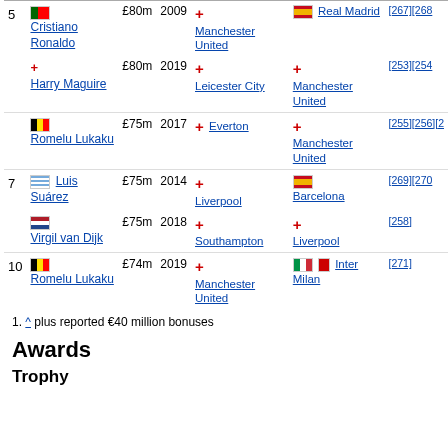| Rank | Player | Fee | Year | From | To | Refs |
| --- | --- | --- | --- | --- | --- | --- |
| 5 | Cristiano Ronaldo (PT) | £80m | 2009 | Manchester United (ENG) | Real Madrid (ES) | [267][268] |
| 5 | Harry Maguire (ENG) | £80m | 2019 | Leicester City (ENG) | Manchester United (ENG) | [253][254] |
|  | Romelu Lukaku (BEL) | £75m | 2017 | Everton (ENG) | Manchester United (ENG) | [255][256][2...] |
| 7 | Luis Suárez (URU) | £75m | 2014 | Liverpool (ENG) | Barcelona (ES) | [269][270] |
|  | Virgil van Dijk (NL) | £75m | 2018 | Southampton (ENG) | Liverpool (ENG) | [258] |
| 10 | Romelu Lukaku (BEL) | £74m | 2019 | Manchester United (ENG) | Inter Milan (IT) | [271] |
1. ^ plus reported €40 million bonuses
Awards
Trophy